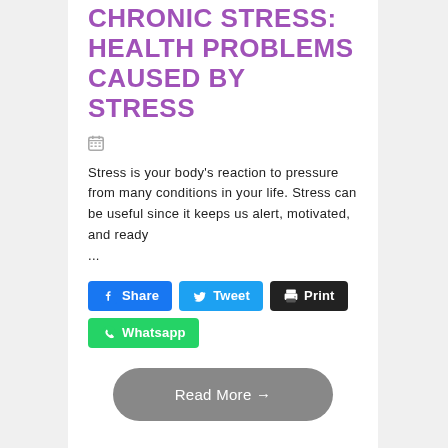CHRONIC STRESS: HEALTH PROBLEMS CAUSED BY STRESS
[Figure (other): Calendar icon]
Stress is your body's reaction to pressure from many conditions in your life. Stress can be useful since it keeps us alert, motivated, and ready ...
Share | Tweet | Print | Whatsapp (social sharing buttons)
Read More →